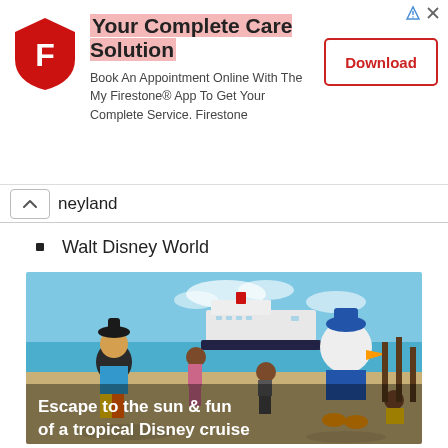[Figure (screenshot): Firestone app advertisement banner with logo, title 'Your Complete Care Solution', subtitle text, and Download button]
neyland
Walt Disney World
[Figure (photo): Disney cruise promotional photo showing Goofy and Donald Duck characters with children on a beach, with a Disney cruise ship in the background. Text overlay reads: Escape to the sun & fun of a tropical Disney cruise]